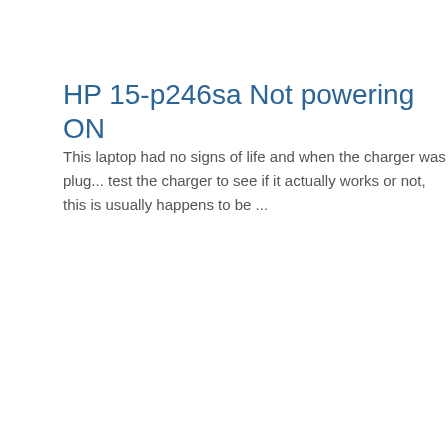HP 15-p246sa Not powering ON
This laptop had no signs of life and when the charger was plug... test the charger to see if it actually works or not, this is usually happens to be ...